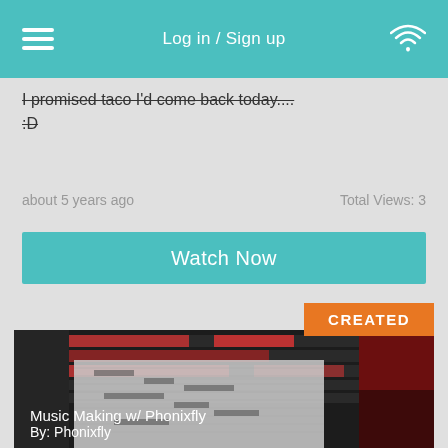Log in / Sign up
I promised taco I'd come back today.... :D
about 5 years ago   Total Views: 3
Watch Now
[Figure (screenshot): Video thumbnail showing a DAW (digital audio workstation) interface with red tracks, a piano roll overlay, and an anime character on the right side. Badge labeled CREATED in orange. Title: Music Making w/ Phonixfly, By: Phonixfly]